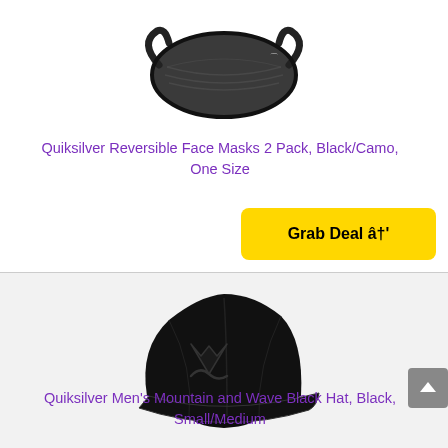[Figure (photo): Quiksilver dark gray/black reversible face mask with logo on white background]
Quiksilver Reversible Face Masks 2 Pack, Black/Camo, One Size
Grab Deal â†'
[Figure (photo): Quiksilver Men's Mountain and Wave all-black baseball hat on light gray background]
Quiksilver Men's Mountain and Wave Black Hat, Black, Small/Medium